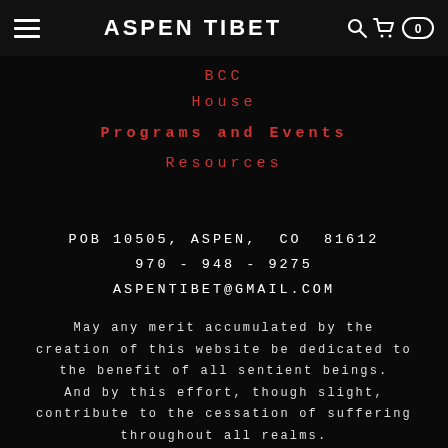ASPEN TIBET
BCC
House
Programs and Events
Resources
POB 10505, ASPEN,  CO  81612
970 - 948 - 9275
ASPENTIBET@GMAIL.COM
May any merit accumulated by the creation of this website be dedicated to the benefit of all sentient beings. And by this effort, though slight, contribute to the cessation of suffering throughout all realms.